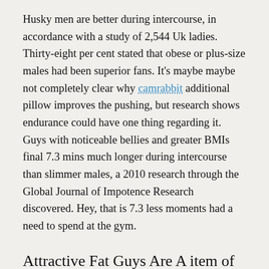Husky men are better during intercourse, in accordance with a study of 2,544 Uk ladies. Thirty-eight per cent stated that obese or plus-size males had been superior fans. It's maybe maybe not completely clear why camrabbit additional pillow improves the pushing, but research shows endurance could have one thing regarding it. Guys with noticeable bellies and greater BMIs final 7.3 mins much longer during intercourse than slimmer males, a 2010 research through the Global Journal of Impotence Research discovered. Hey, that is 7.3 less moments had a need to spend at the gym.
Attractive Fat Guys Are A item of Development
“Those whom could store fats effortlessly had an advantage that is evolutionary the harsh environment